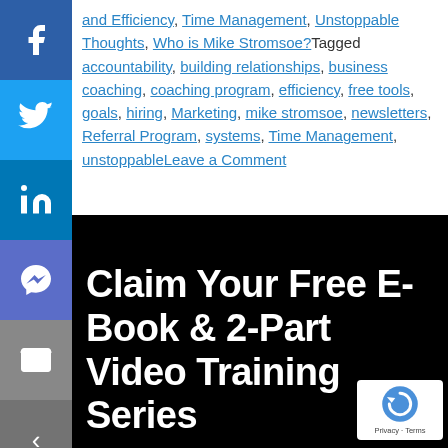and Efficiency, Time Management, Unstoppable Thoughts, Who is Mike Stromsoe?Tagged accountability, building relationships, business coaching, coaching program, efficiency, free tools, goals, hiring, Marketing, mike stromsoe, newsletters, Referral Program, systems, Time Management, unstoppableLeave a Comment
[Figure (screenshot): Social media sharing sidebar with Facebook, Twitter, LinkedIn, Messenger, and Email icons]
Claim Your Free E-Book & 2-Part Video Training Series